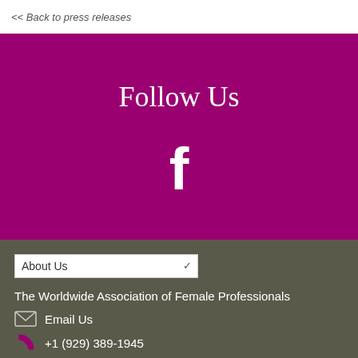<< Back to press releases
Follow Us
[Figure (illustration): Facebook logo icon (white 'f' on magenta/purple background)]
About Us (dropdown)
The Worldwide Association of Female Professionals
Email Us
+1 (929) 389-1945